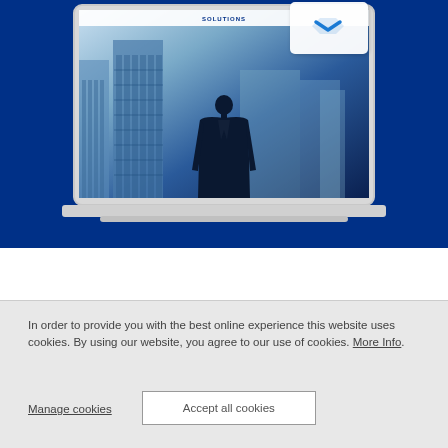[Figure (screenshot): Dark blue background with a laptop mockup displaying a financial solutions website. The screen shows a silhouette of a businessman standing before a city skyline. A notification/email card appears in the upper right corner of the laptop screen. The laptop sits on a white base.]
In order to provide you with the best online experience this website uses cookies. By using our website, you agree to our use of cookies. More Info.
Manage cookies
Accept all cookies